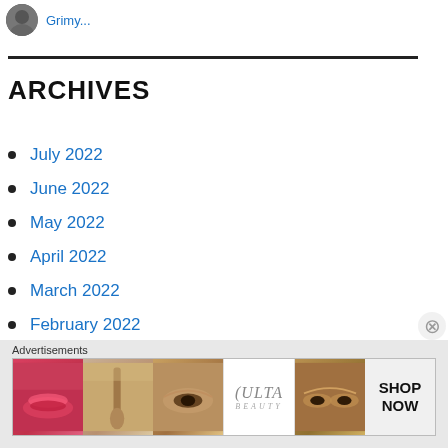[Figure (photo): Circular avatar/profile photo thumbnail with partial username 'Grimy...' in blue link text]
ARCHIVES
July 2022
June 2022
May 2022
April 2022
March 2022
February 2022
January 2022
Advertisements
[Figure (photo): ULTA Beauty advertisement banner with beauty/makeup themed photo collage (lips, brush, eyes, ULTA logo, eyes, SHOP NOW text)]